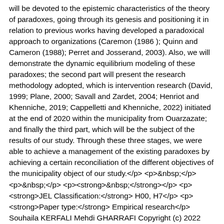will be devoted to the epistemic characteristics of the theory of paradoxes, going through its genesis and positioning it in relation to previous works having developed a paradoxical approach to organizations (Caremon (1986 ); Quinn and Cameron (1988); Perret and Josserand, 2003). Also, we will demonstrate the dynamic equilibrium modeling of these paradoxes; the second part will present the research methodology adopted, which is intervention research (David, 1999; Plane, 2000; Savall and Zardet, 2004; Henriot and Khenniche, 2019; Cappelletti and Khenniche, 2022) initiated at the end of 2020 within the municipality from Ouarzazate; and finally the third part, which will be the subject of the results of our study. Through these three stages, we were able to achieve a management of the existing paradoxes by achieving a certain reconciliation of the different objectives of the municipality object of our study.</p> <p>&nbsp;</p> <p>&nbsp;</p> <p><strong>&nbsp;</strong></p> <p><strong>JEL Classification:</strong> H00, H7</p> <p><strong>Paper type:</strong> Empirical research</p> Souhaila KERFALI Mehdi GHARRAFI Copyright (c) 2022 Souhaila KERFALI, Mehdi GHARRAFI https://creativecommons.org/licenses/by-nc-nd/4.0 2022-08-10 2022-08-10 3 4-3 531 546 10.5281/zenodo.6971646 https://ijafame.org/index.php/ijafame/article/view/676 <p>A slowing trend in the pace of growth, persistent mass unemployment, low productivity gains, competitiveness limited to